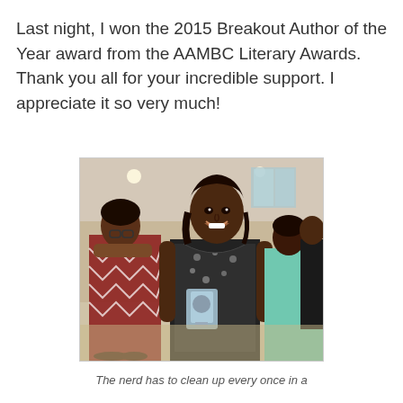Last night, I won the 2015 Breakout Author of the Year award from the AAMBC Literary Awards. Thank you all for your incredible support. I appreciate it so very much!
[Figure (photo): A smiling woman in a black and white patterned top and black skirt holds a glass award trophy. In the background are other people at what appears to be an indoor event or banquet. One woman on the left wears a patterned red and white dress; another on the right wears a teal/mint dress.]
The nerd has to clean up every once in a